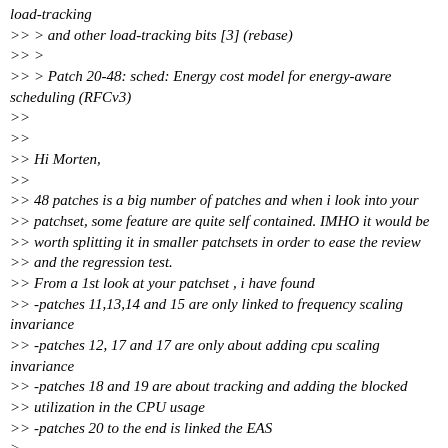load-tracking
>> > and other load-tracking bits [3] (rebase)
>> >
>> > Patch 20-48: sched: Energy cost model for energy-aware scheduling (RFCv3)
>>
>>
>> Hi Morten,
>>
>> 48 patches is a big number of patches and when i look into your
>> patchset, some feature are quite self contained. IMHO it would be
>> worth splitting it in smaller patchsets in order to ease the review
>> and the regression test.
>> From a 1st look at your patchset , i have found
>> -patches 11,13,14 and 15 are only linked to frequency scaling invariance
>> -patches 12, 17 and 17 are only about adding cpu scaling invariance
>> -patches 18 and 19 are about tracking and adding the blocked
>> utilization in the CPU usage
>> -patches 20 to the end is linked the EAS
>
> I agree it makes sense to regroup the patches as you suggest. A